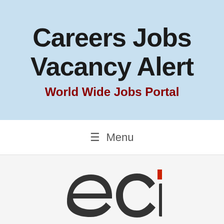Careers Jobs Vacancy Alert
World Wide Jobs Portal
≡ Menu
[Figure (logo): ECI company logo with red square accent above the letter i, text 'eci' in dark gray bold lowercase letters]